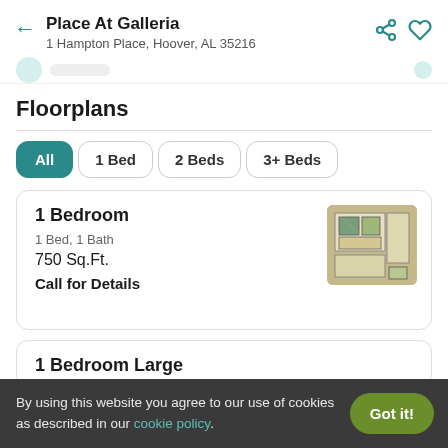Place At Galleria
1 Hampton Place, Hoover, AL 35216
Floorplans
All | 1 Bed | 2 Beds | 3+ Beds
1 Bedroom
1 Bed, 1 Bath
750 Sq.Ft.
Call for Details
1 Bedroom Large
By using this website you agree to our use of cookies as described in our cookie policy.